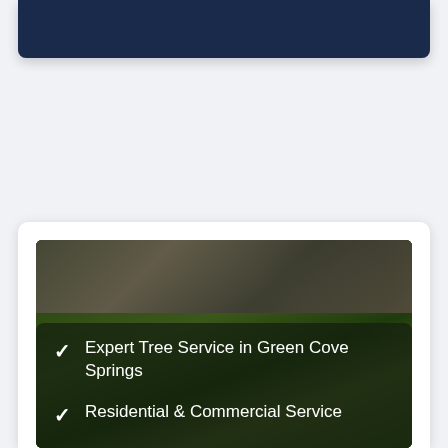[Figure (other): Dark navy blue header card/banner at the top of the page]
[Figure (photo): Photograph of tree bark and green leaves/foliage with a dark semi-transparent overlay panel containing two checkmark bullet points: 'Expert Tree Service in Green Cove Springs' and 'Residential & Commercial Service']
Expert Tree Service in Green Cove Springs
Residential & Commercial Service